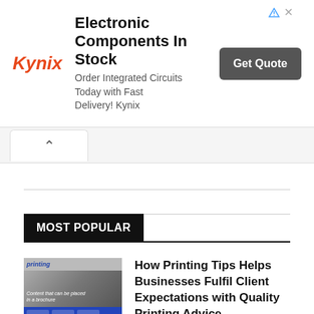[Figure (infographic): Kynix advertisement banner: 'Electronic Components In Stock - Order Integrated Circuits Today with Fast Delivery! Kynix' with a 'Get Quote' button]
[Figure (infographic): Navigation tab area with a chevron/up-arrow tab on white background]
MOST POPULAR
[Figure (photo): Thumbnail image for printing tips article showing printed materials]
How Printing Tips Helps Businesses Fulfil Client Expectations with Quality Printing Advice